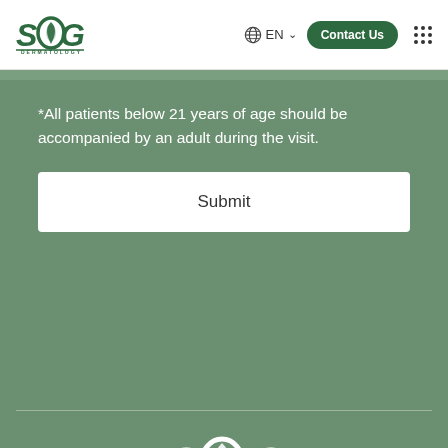[Figure (logo): SOG Dermatology logo with green leaf design in the O letter, top-left of navigation header]
EN  Contact Us
*All patients below 21 years of age should be accompanied by an adult during the visit.
Submit
[Figure (logo): SOG Dermatology logo in white, centered in footer area]
Home